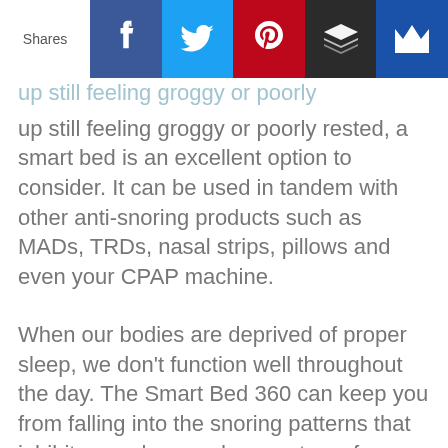[Figure (infographic): Social sharing bar with Shares label and icons for Facebook (blue), Twitter (light blue), Pinterest (red), Buffer (dark/black), and Flipboard (blue)]
up still feeling groggy or poorly rested, a smart bed is an excellent option to consider. It can be used in tandem with other anti-snoring products such as MADs, TRDs, nasal strips, pillows and even your CPAP machine.
When our bodies are deprived of proper sleep, we don't function well throughout the day. The Smart Bed 360 can keep you from falling into the snoring patterns that inhibit your sleep and prevent you from